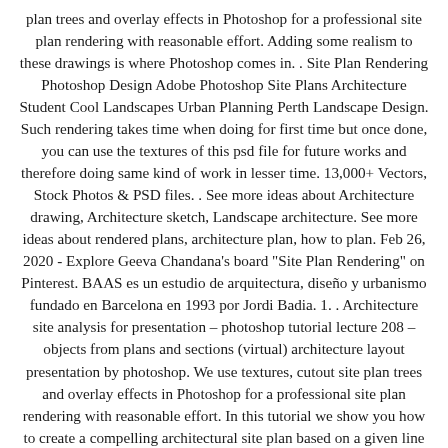plan trees and overlay effects in Photoshop for a professional site plan rendering with reasonable effort. Adding some realism to these drawings is where Photoshop comes in. . Site Plan Rendering Photoshop Design Adobe Photoshop Site Plans Architecture Student Cool Landscapes Urban Planning Perth Landscape Design. Such rendering takes time when doing for first time but once done, you can use the textures of this psd file for future works and therefore doing same kind of work in lesser time. 13,000+ Vectors, Stock Photos & PSD files. . See more ideas about Architecture drawing, Architecture sketch, Landscape architecture. See more ideas about rendered plans, architecture plan, how to plan. Feb 26, 2020 - Explore Geeva Chandana's board "Site Plan Rendering" on Pinterest. BAAS es un estudio de arquitectura, diseño y urbanismo fundado en Barcelona en 1993 por Jordi Badia. 1. . Architecture site analysis for presentation – photoshop tutorial lecture 208 – objects from plans and sections (virtual) architecture layout presentation by photoshop. We use textures, cutout site plan trees and overlay effects in Photoshop for a professional site plan rendering with reasonable effort. In this tutorial we show you how to create a compelling architectural site plan based on a given line work file. How to make a site plan architecture rendering in Photoshop. This video is how to render minimal & professional site plan architecture. . V-Ray Getting Started. We researched important topics within the large scale, namely Elm Street (the location of the proposed Hatchery). Welcome back to Instagram.